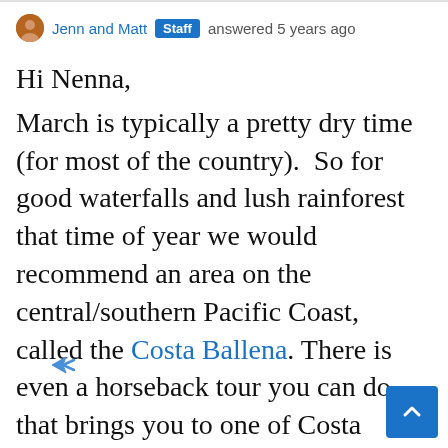Jenn and Matt  Staff  answered 5 years ago
Hi Nenna,
March is typically a pretty dry time (for most of the country).  So for good waterfalls and lush rainforest that time of year we would recommend an area on the central/southern Pacific Coast, called the Costa Ballena. There is even a horseback tour you can do that brings you to one of Costa Rica's best waterfalls. That area also has beautiful beaches. Another note about your trip; 3-4 days in Tortuguero might be too much time. Most people spend 2 or 3 nights max because, although amazing, there